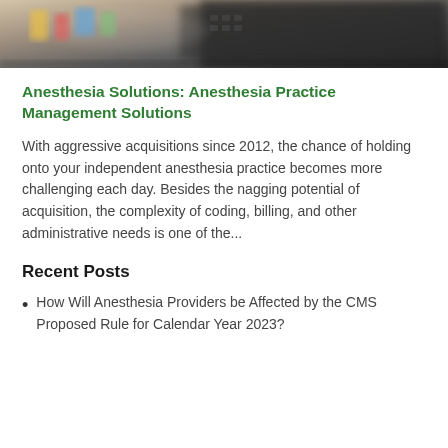[Figure (photo): Blurred photo of a desk with colorful papers/folders and a dark calculator or keyboard in the background]
Anesthesia Solutions: Anesthesia Practice Management Solutions
With aggressive acquisitions since 2012, the chance of holding onto your independent anesthesia practice becomes more challenging each day. Besides the nagging potential of acquisition, the complexity of coding, billing, and other administrative needs is one of the...
Recent Posts
How Will Anesthesia Providers be Affected by the CMS Proposed Rule for Calendar Year 2023?